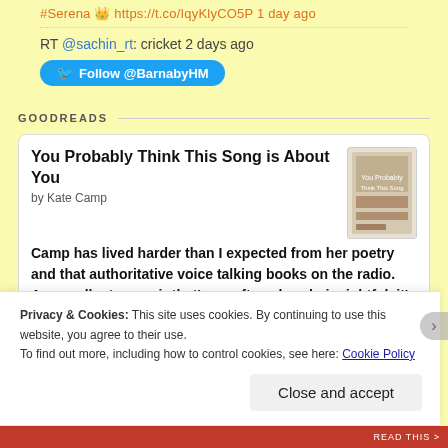#Serena 👑 https://t.co/IqyKlyCO5P 1 day ago
RT @sachin_rt: cricket 2 days ago
Follow @BarnabyHM
GOODREADS
You Probably Think This Song is About You
by Kate Camp
Camp has lived harder than I expected from her poetry and that authoritative voice talking books on the radio. An excellent memoir that's so often sharply insightful, it's frustrating when the writing occasionally
Privacy & Cookies: This site uses cookies. By continuing to use this website, you agree to their use.
To find out more, including how to control cookies, see here: Cookie Policy
Close and accept